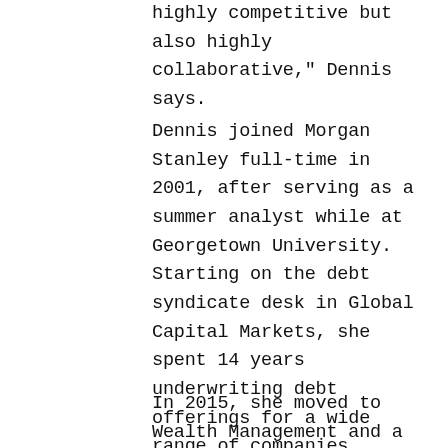highly competitive but also highly collaborative," Dennis says.
Dennis joined Morgan Stanley full-time in 2001, after serving as a summer analyst while at Georgetown University. Starting on the debt syndicate desk in Global Capital Markets, she spent 14 years underwriting debt offerings for a wide range of companies, countries, entities, structured products and project financings. As her responsibilities increased, Dennis thrived on the energy of the underwriting environment and the opportunity to work directly with clients.
In 2015, she moved to Wealth Management and a new role helping